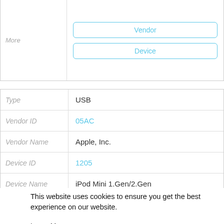|  |  |
| --- | --- |
| More | Vendor
Device |
| Field | Value |
| --- | --- |
| Type | USB |
| Vendor ID | 05AC |
| Vendor Name | Apple, Inc. |
| Device ID | 1205 |
| Device Name | iPod Mini 1.Gen/2.Gen |
| More |  |
This website uses cookies to ensure you get the best experience on our website.
Learn More
Got it!
| Field | Value |
| --- | --- |
| Type |  |
| Vendor ID |  |
| Vendor Nam |  |